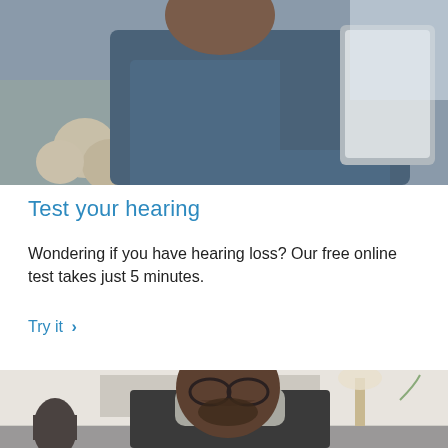[Figure (photo): Man sitting on a couch wearing earphones and holding/using a tablet device, wearing a blue shirt]
Test your hearing
Wondering if you have hearing loss? Our free online test takes just 5 minutes.
Try it  >
[Figure (photo): Man wearing glasses and a dark blazer over a grey turtleneck, looking down, seated on a sofa with a lamp and plant visible in the background]